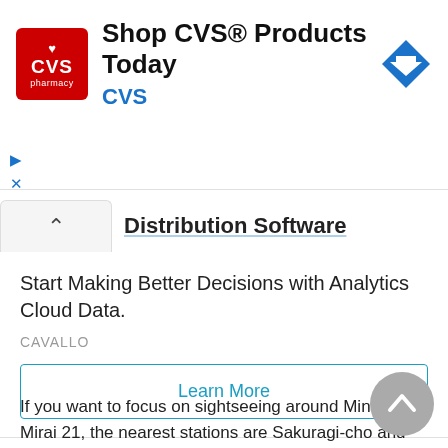[Figure (screenshot): CVS Pharmacy advertisement banner with red square logo, headline 'Shop CVS® Products Today', brand name 'CVS' in blue, and a blue diamond direction arrow icon. Ad indicator icons (triangle and X) visible on the left.]
Distribution Software
[Figure (screenshot): Second advertisement block: headline 'Start Making Better Decisions with Analytics Cloud Data.', brand 'CAVALLO', and a 'Learn More' button with teal border.]
If you want to focus on sightseeing around Minato Mirai 21, the nearest stations are Sakuragi-cho and Kannai, one or two stops away from "Yokohama Station".
This JR Yokohama Station area is also home to Yokohama Stadium and Yokohama Budokan.